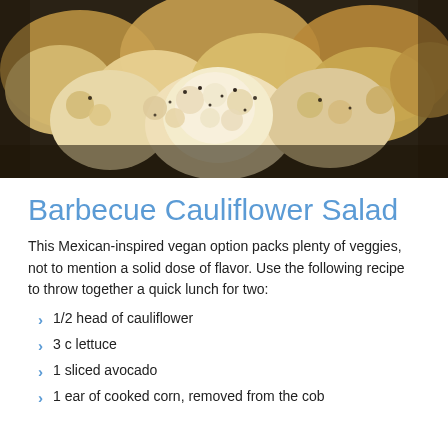[Figure (photo): Close-up photo of roasted cauliflower florets seasoned with pepper and spices on a dark pan.]
Barbecue Cauliflower Salad
This Mexican-inspired vegan option packs plenty of veggies, not to mention a solid dose of flavor. Use the following recipe to throw together a quick lunch for two:
1/2 head of cauliflower
3 c lettuce
1 sliced avocado
1 ear of cooked corn, removed from the cob